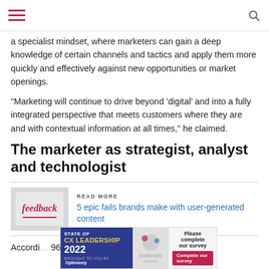Navigation and search header
a specialist mindset, where marketers can gain a deep knowledge of certain channels and tactics and apply them more quickly and effectively against new opportunities or market openings.
“Marketing will continue to drive beyond ‘digital’ and into a fully integrated perspective that meets customers where they are and with contextual information at all times,” he claimed.
The marketer as strategist, analyst and technologist
[Figure (photo): Feedback image showing handwritten word 'feedback' for a read-more article box]
READ MORE
5 epic fails brands make with user-generated content
Accordi... 96 per cent of... tanding of techu... ans